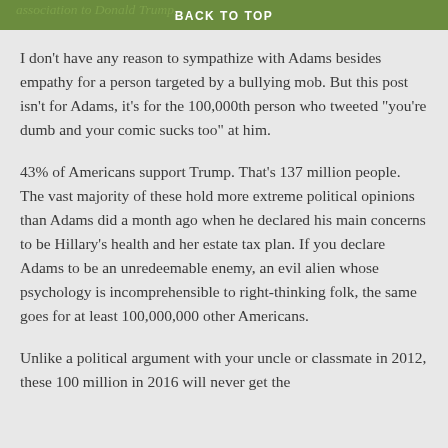association to Donald Trump. BACK TO TOP
I don’t have any reason to sympathize with Adams besides empathy for a person targeted by a bullying mob. But this post isn’t for Adams, it’s for the 100,000th person who tweeted “you’re dumb and your comic sucks too” at him.
43% of Americans support Trump. That’s 137 million people. The vast majority of these hold more extreme political opinions than Adams did a month ago when he declared his main concerns to be Hillary’s health and her estate tax plan. If you declare Adams to be an unredeemable enemy, an evil alien whose psychology is incomprehensible to right-thinking folk, the same goes for at least 100,000,000 other Americans.
Unlike a political argument with your uncle or classmate in 2012, these 100 million in 2016 will never get the